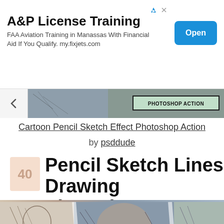[Figure (screenshot): Advertisement banner: A&P License Training, FAA Aviation Training in Manassas With Financial Aid If You Qualify. my.fixjets.com, with blue Open button]
[Figure (screenshot): Thumbnail strip showing a cartoon pencil sketch photoshop action preview image with PHOTOSHOP ACTION text overlay, with back arrow button]
Cartoon Pencil Sketch Effect Photoshop Action
by psddude
40 Pencil Sketch Lines Drawing Photoshop Action
[Figure (photo): Bottom portion of image showing pencil sketch drawing photoshop action examples - portraits rendered in pencil sketch style]